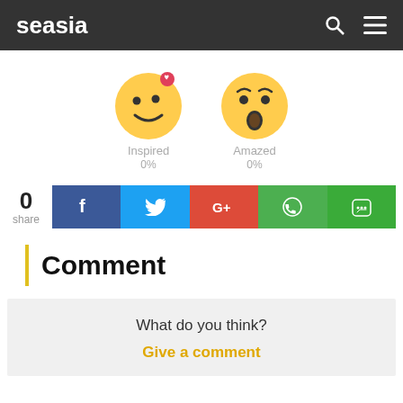seasia
[Figure (illustration): Two emoji faces: 'Inspired' (smiling face with pink heart notification badge) and 'Amazed' (surprised open-mouth face), each labeled with name and 0% below.]
Inspired
0%
Amazed
0%
0
share
[Figure (infographic): Row of 5 social sharing buttons: Facebook (blue, f), Twitter (light blue, bird), Google+ (red, G+), WhatsApp (green, phone), LINE (green, chat bubble)]
Comment
What do you think?
Give a comment